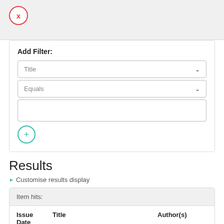[Figure (screenshot): Red circle X button in a gray header area]
Add Filter:
[Figure (screenshot): Title dropdown selector with chevron]
[Figure (screenshot): Equals dropdown selector with chevron]
[Figure (screenshot): Empty text input field]
[Figure (screenshot): Teal circle plus button]
Results
Customise results display
| Issue Date | Title | Author(s) |
| --- | --- | --- |